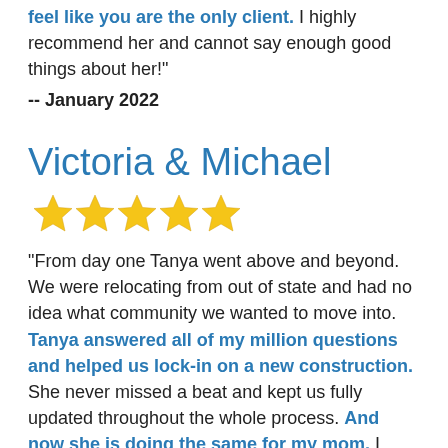feel like you are the only client. I highly recommend her and cannot say enough good things about her!"
-- January 2022
Victoria & Michael
[Figure (illustration): Five gold stars rating]
"From day one Tanya went above and beyond. We were relocating from out of state and had no idea what community we wanted to move into. Tanya answered all of my million questions and helped us lock-in on a new construction. She never missed a beat and kept us fully updated throughout the whole process. And now she is doing the same for my mom. I highly recommend Tanya for all your real estate needs